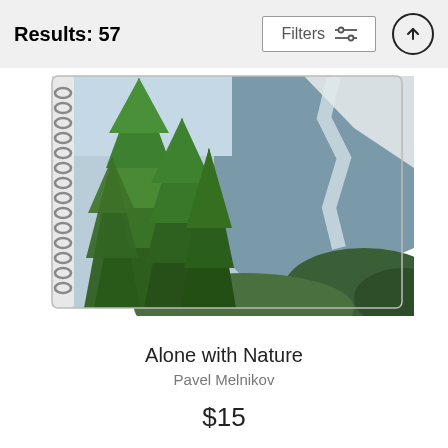Results: 57
Filters
[Figure (photo): A spiral-bound notebook with a nature photograph on the cover showing tall green pine trees in the foreground and a mountain with snow and a winding river or glacier path in the background.]
Alone with Nature
Pavel Melnikov
$15